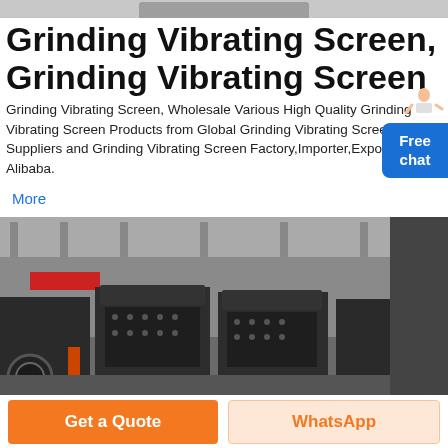[Figure (photo): Partial view of industrial machinery at top, cropped]
Grinding Vibrating Screen, Grinding Vibrating Screen
Grinding Vibrating Screen, Wholesale Various High Quality Grinding Vibrating Screen Products from Global Grinding Vibrating Screen Suppliers and Grinding Vibrating Screen Factory,Importer,Exporter at Alibaba.
More
[Figure (photo): Industrial vibrating screen machines in a factory warehouse setting, large dark metal equipment lined up]
Get a Quote
WhatsApp